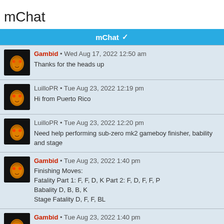mChat
mChat ✓
Gambid • Wed Aug 17, 2022 12:50 am
Thanks for the heads up
LuilloPR • Tue Aug 23, 2022 12:19 pm
Hi from Puerto Rico
LuilloPR • Tue Aug 23, 2022 12:20 pm
Need help performing sub-zero mk2 gameboy finisher, bability and stage
Gambid • Tue Aug 23, 2022 1:40 pm
Finishing Moves:
Fatality Part 1: F, F, D, K Part 2: F, D, F, F, P
Babality D, B, B, K
Stage Fatality D, F, F, BL
Gambid • Tue Aug 23, 2022 1:40 pm
Or what do you mean by help?
ermaccer • Fri Sep 02, 2022 3:58 am
Updated all hook topics and posted missing hooks (mk9,injustice, injustice 2) on mksecrets!